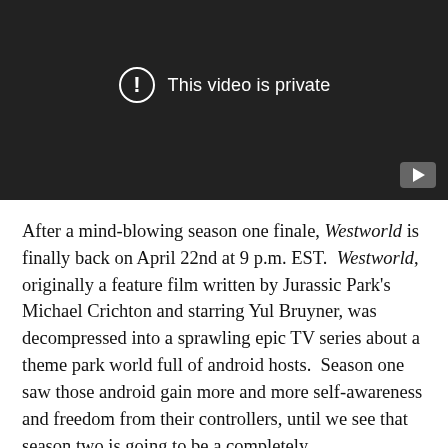[Figure (screenshot): Embedded video player showing 'This video is private' message with an exclamation mark icon on dark background, and a YouTube play button in the bottom right corner.]
After a mind-blowing season one finale, Westworld is finally back on April 22nd at 9 p.m. EST.  Westworld, originally a feature film written by Jurassic Park's Michael Crichton and starring Yul Bruyner, was decompressed into a sprawling epic TV series about a theme park world full of android hosts.  Season one saw those android gain more and more self-awareness and freedom from their controllers, until we see that season two is going to be a completely